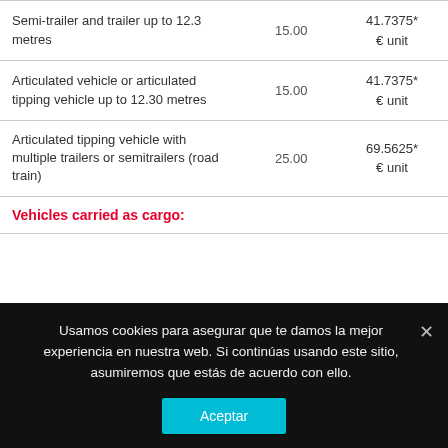| Vehicle type | Quantity | Price |
| --- | --- | --- |
| Semi-trailer and trailer up to 12.3 metres | 15.00 | 41.7375*
€ unit |
| Articulated vehicle or articulated tipping vehicle up to 12.30 metres | 15.00 | 41.7375*
€ unit |
| Articulated tipping vehicle with multiple trailers or semitrailers (road train) | 25.00 | 69.5625*
€ unit |
Vehicles carried as cargo:
Usamos cookies para asegurar que te damos la mejor experiencia en nuestra web. Si continúas usando este sitio, asumiremos que estás de acuerdo con ello.